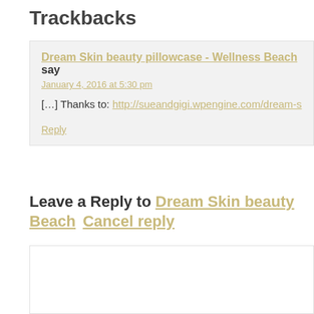Trackbacks
Dream Skin beauty pillowcase - Wellness Beach says January 4, 2016 at 5:30 pm [...] Thanks to: http://sueandgigi.wpengine.com/dream-s... Reply
Leave a Reply to Dream Skin beauty pillowcase - Wellness Beach Cancel reply